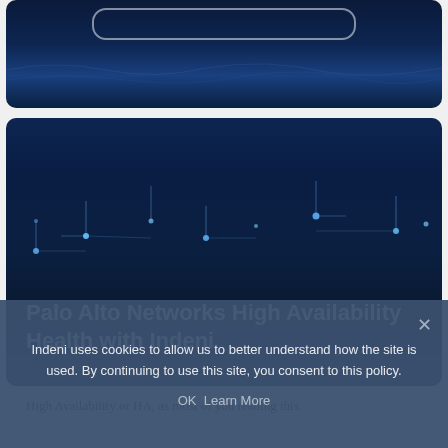[Figure (screenshot): Top dark navy blue card with a rounded pill/button outline visible near the top, showing a partial website screenshot with dark ocean/network background]
[Figure (screenshot): Main dark navy blue card with circuit/network node pattern and glowing dots at the bottom portion, featuring large white bold title text]
Palo Alto Networks High Availability Health with Indeni
High Availability or HA, as most of you reading this
Indeni uses cookies to allow us to better understand how the site is used. By continuing to use this site, you consent to this policy.
OK   Learn More